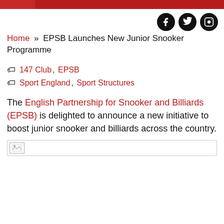EPSB Launches New Junior Snooker Programme
Home » EPSB Launches New Junior Snooker Programme
147 Club, EPSB
Sport England, Sport Structures
The English Partnership for Snooker and Billiards (EPSB) is delighted to announce a new initiative to boost junior snooker and billiards across the country.
[Figure (photo): Broken/placeholder image thumbnail]